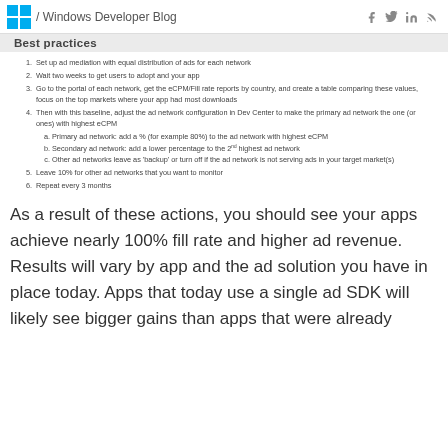/ Windows Developer Blog
Best practices
Set up ad mediation with equal distribution of ads for each network
Wait two weeks to get users to adopt and your app
Go to the portal of each network, get the eCPM/Fill rate reports by country, and create a table comparing these values, focus on the top markets where your app had most downloads
Then with this baseline, adjust the ad network configuration in Dev Center to make the primary ad network the one (or ones) with highest eCPM
Primary ad network: add a % (for example 80%) to the ad network with highest eCPM
Secondary ad network: add a lower percentage to the 2nd highest ad network
Other ad networks leave as 'backup' or turn off if the ad network is not serving ads in your target market(s)
Leave 10% for other ad networks that you want to monitor
Repeat every 3 months
As a result of these actions, you should see your apps achieve nearly 100% fill rate and higher ad revenue. Results will vary by app and the ad solution you have in place today. Apps that today use a single ad SDK will likely see bigger gains than apps that were already